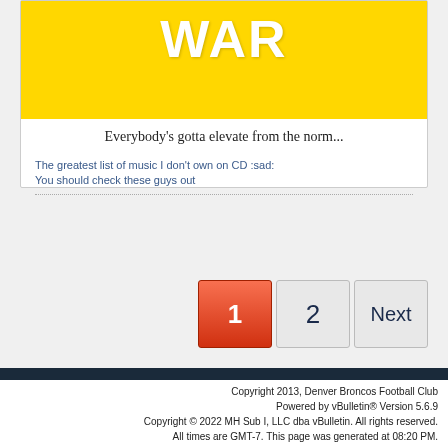[Figure (screenshot): Yellow banner with large white text 'WAR']
Everybody's gotta elevate from the norm...
The greatest list of music I don't own on CD :sad:
You should check these guys out
Pagination: 1, 2, Next
English (US) dropdown, Go to... dropdown
Copyright 2013, Denver Broncos Football Club
Powered by vBulletin® Version 5.6.9
Copyright © 2022 MH Sub I, LLC dba vBulletin. All rights reserved.
All times are GMT-7. This page was generated at 08:20 PM.